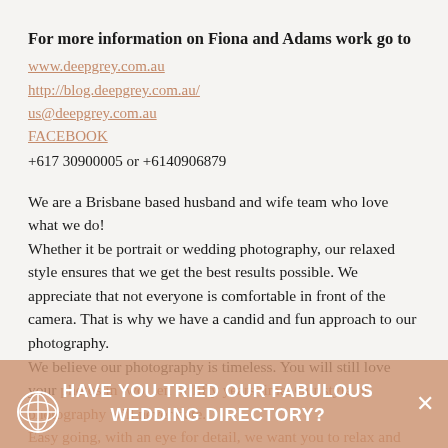For more information on Fiona and Adams work go to
www.deepgrey.com.au
http://blog.deepgrey.com.au/
us@deepgrey.com.au
FACEBOOK
+617 30900005 or +6140906879
We are a Brisbane based husband and wife team who love what we do!
Whether it be portrait or wedding photography, our relaxed style ensures that we get the best results possible. We appreciate that not everyone is comfortable in front of the camera. That is why we have a candid and fun approach to our photography.
We believe our photography is timeless. You will still love your photos in two, ten or fifty years time. Our style of photography will never date.
Easy going, with an eye for detail, we want you to relax and enjoy your wedding day, so we ensure that our presence is both
HAVE YOU TRIED OUR FABULOUS WEDDING DIRECTORY?